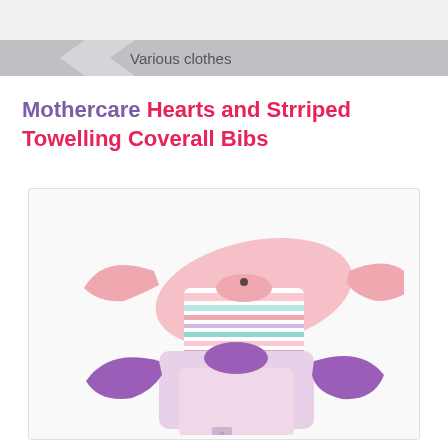Various clothes
Mothercare Hearts and Strriped Towelling Coverall Bibs
[Figure (photo): Two baby coverall bibs with long sleeves. The top bib is pink with multicolored horizontal stripes (white, pink, teal, mauve). The bottom bib has purple/mauve sleeves and a light pink body.]